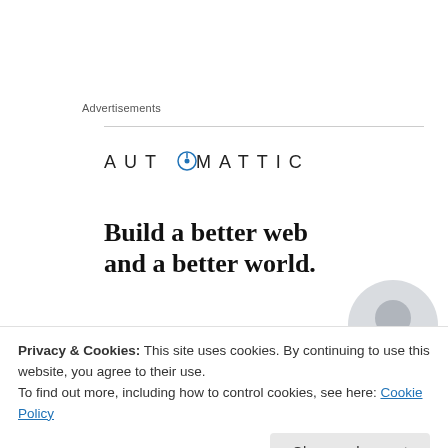Advertisements
[Figure (logo): Automattic logo with blue compass icon and text 'AUTOMATTIC' in spaced caps, followed by bold headline 'Build a better web and a better world.' with a blue underline bar and partial circular portrait photo in bottom right]
I actually read most of these last week already! I had a
Privacy & Cookies: This site uses cookies. By continuing to use this website, you agree to their use. To find out more, including how to control cookies, see here: Cookie Policy
was not up to that kind of level at the time while I was